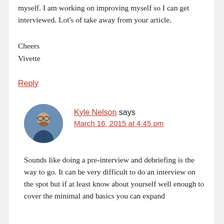myself. I am working on improving myself so I can get interviewed. Lot's of take away from your article.
Cheers
Vivette
Reply
[Figure (photo): Circular avatar photo of Kyle Nelson, a man with glasses and a beard wearing a dark blue shirt]
Kyle Nelson says
March 16, 2015 at 4:45 pm
Sounds like doing a pre-interview and debriefing is the way to go. It can be very difficult to do an interview on the spot but if at least know about yourself well enough to cover the minimal and basics you can expand